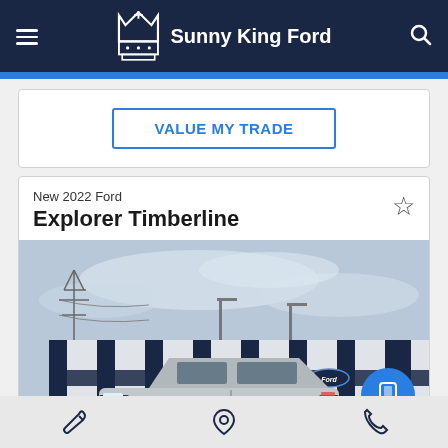Sunny King Ford
VALUE MY TRADE
New 2022 Ford Explorer Timberline
[Figure (photo): Photo of a Ford Explorer Timberline SUV parked in front of a large Sunny King Ford dealership building with blue and white exterior, power line tower in background, blue sky with clouds.]
Service | Location | Phone